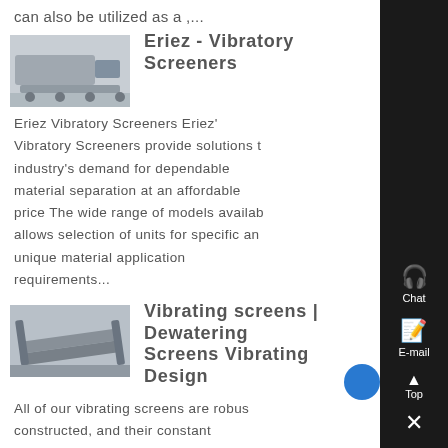can also be utilized as a ,...
Eriez - Vibratory Screeners
[Figure (photo): Thumbnail photo of Eriez Vibratory Screener equipment outdoors]
Eriez Vibratory Screeners Eriez' Vibratory Screeners provide solutions to industry's demand for dependable material separation at an affordable price The wide range of models available allows selection of units for specific and unique material application requirements...
[Figure (photo): Thumbnail photo of vibrating screen equipment in an industrial setting]
Vibrating screens | Dewatering Screens Vibrating Design
All of our vibrating screens are robustly constructed, and their constant